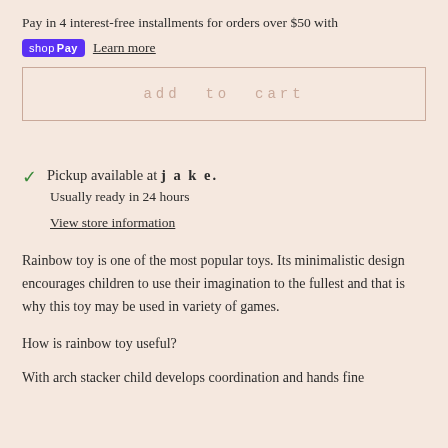Pay in 4 interest-free installments for orders over $50 with shop Pay Learn more
add to cart
Pickup available at j a k e.
Usually ready in 24 hours
View store information
Rainbow toy is one of the most popular toys. Its minimalistic design encourages children to use their imagination to the fullest and that is why this toy may be used in variety of games.
How is rainbow toy useful?
With arch stacker child develops coordination and hands fine